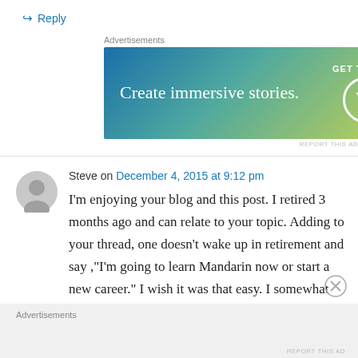↪ Reply
Advertisements
[Figure (illustration): WordPress app advertisement banner with text 'Create immersive stories.' and 'GET THE APP' with WordPress logo]
REPORT THIS AD
Steve on December 4, 2015 at 9:12 pm
I'm enjoying your blog and this post. I retired 3 months ago and can relate to your topic. Adding to your thread, one doesn't wake up in retirement and say ,"I'm going to learn Mandarin now or start a new career." I wish it was that easy. I somewhat compare it to the day after
Advertisements
REPORT THIS AD